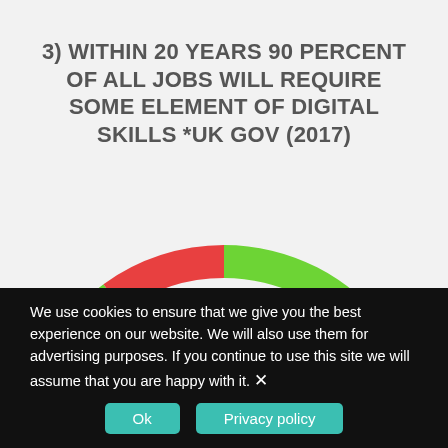3) WITHIN 20 YEARS 90 PERCENT OF ALL JOBS WILL REQUIRE SOME ELEMENT OF DIGITAL SKILLS *UK GOV (2017)
[Figure (donut-chart): 90% of jobs will require digital skills]
We use cookies to ensure that we give you the best experience on our website. We will also use them for advertising purposes. If you continue to use this site we will assume that you are happy with it. ×